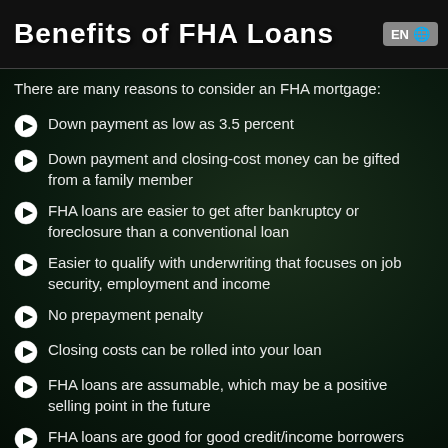Benefits of FHA Loans
There are many reasons to consider an FHA mortgage:
Down payment as low as 3.5 percent
Down payment and closing-cost money can be gifted from a family member
FHA loans are easier to get after bankruptcy or foreclosure than a conventional loan
Easier to qualify with underwriting that focuses on job security, employment and income
No prepayment penalty
Closing costs can be rolled into your loan
FHA loans are assumable, which may be a positive selling point in the future
FHA loans are good for good credit/income borrowers who don't have liquid funds for down payment